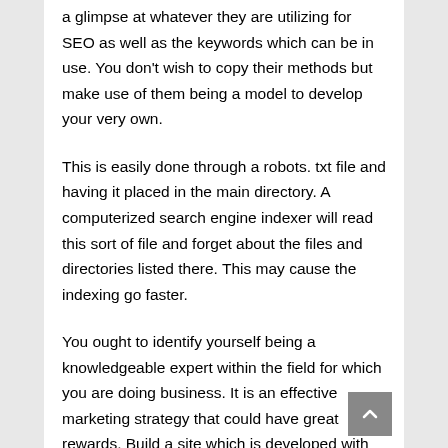a glimpse at whatever they are utilizing for SEO as well as the keywords which can be in use. You don't wish to copy their methods but make use of them being a model to develop your very own.
This is easily done through a robots. txt file and having it placed in the main directory. A computerized search engine indexer will read this sort of file and forget about the files and directories listed there. This may cause the indexing go faster.
You ought to identify yourself being a knowledgeable expert within the field for which you are doing business. It is an effective marketing strategy that could have great rewards. Build a site which is developed with your buyers' needs in your mind, then implement SEO strategies so that they can locate what you must offer. Be sure you understand specifically what customers are seeking, don't just